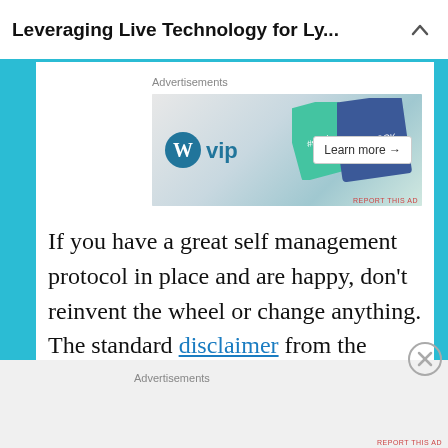Leveraging Live Technology for Ly...
Advertisements
[Figure (screenshot): WordPress VIP advertisement banner with social media logos (Slack, Facebook) and a Learn more button]
If you have a great self management protocol in place and are happy, don't reinvent the wheel or change anything. The standard disclaimer from the group rules & guidelines applies to all presentations.
Advertisements